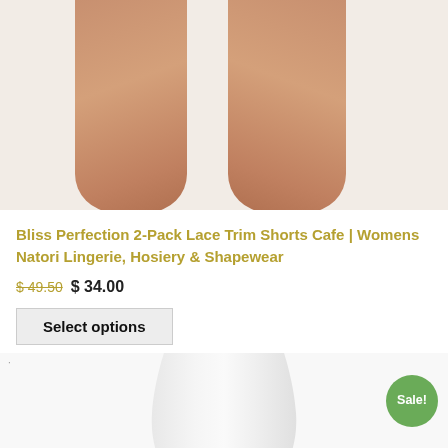[Figure (photo): Close-up photo of a woman's legs wearing skin-toned shapewear shorts, cropped at thigh level, white background]
Bliss Perfection 2-Pack Lace Trim Shorts Cafe | Womens Natori Lingerie, Hosiery & Shapewear
$ 49.50  $ 34.00
Select options
[Figure (photo): Photo of a woman's torso wearing white shapewear/bodysuit, showing waist and hips, with a green 'Sale!' badge in the top right corner]